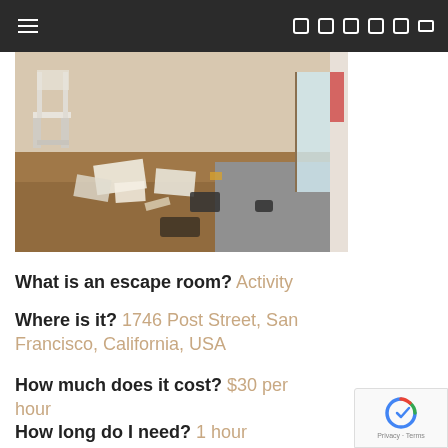Navigation bar with hamburger menu and icons
[Figure (photo): Interior of an escape room showing a messy room with a white chair, scattered papers, boxes, and objects on a wooden floor with a concrete floor visible in the background.]
What is an escape room? Activity
Where is it?  1746 Post Street, San Francisco, California, USA
How much does it cost? $30 per hour
How long do I need? 1 hour